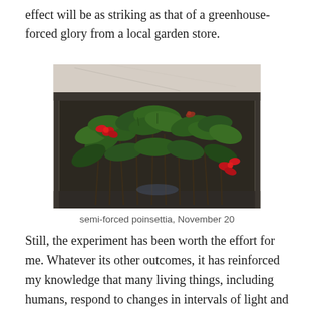effect will be as striking as that of a greenhouse-forced glory from a local garden store.
[Figure (photo): A poinsettia plant with green leaves and some red bracts/flowers, photographed indoors in front of what appears to be a marble or stone surface and a dark frame or shelf.]
semi-forced poinsettia, November 20
Still, the experiment has been worth the effort for me. Whatever its other outcomes, it has reinforced my knowledge that many living things, including humans, respond to changes in intervals of light and dark.